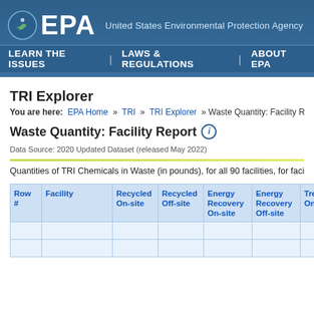EPA — United States Environmental Protection Agency | LEARN THE ISSUES | LAWS & REGULATIONS | ABOUT EPA
TRI Explorer
You are here: EPA Home » TRI » TRI Explorer » Waste Quantity: Facility Repo...
Waste Quantity: Facility Report
Data Source: 2020 Updated Dataset (released May 2022)
Quantities of TRI Chemicals in Waste (in pounds), for all 90 facilities, for facilities...
| Row # | Facility | Recycled On-site | Recycled Off-site | Energy Recovery On-site | Energy Recovery Off-site | Trea...On-s... |
| --- | --- | --- | --- | --- | --- | --- |